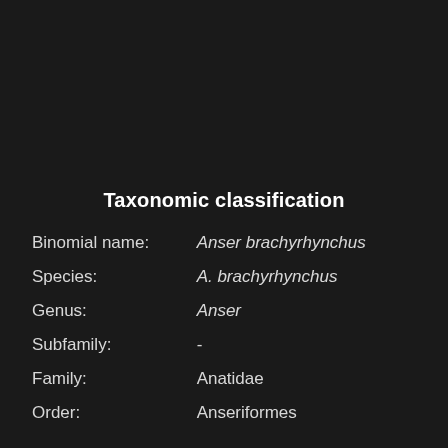Taxonomic classification
| Field | Value |
| --- | --- |
| Binomial name: | Anser brachyrhynchus |
| Species: | A. brachyrhynchus |
| Genus: | Anser |
| Subfamily: | - |
| Family: | Anatidae |
| Order: | Anseriformes |